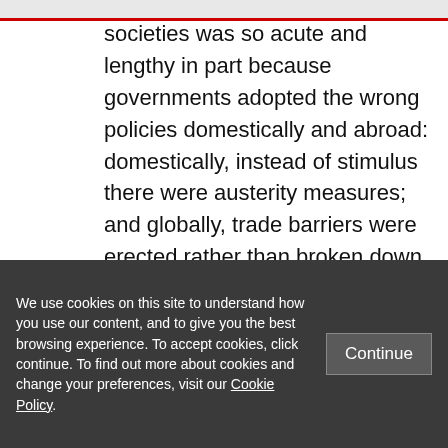societies was so acute and lengthy in part because governments adopted the wrong policies domestically and abroad: domestically, instead of stimulus there were austerity measures; and globally, trade barriers were erected rather than broken down.
The good news today is that governments in major economies rapidly launched extensive
We use cookies on this site to understand how you use our content, and to give you the best browsing experience. To accept cookies, click continue. To find out more about cookies and change your preferences, visit our Cookie Policy.